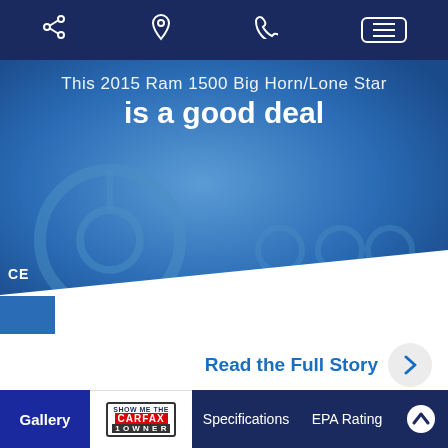Navigation bar with share, location, phone, and menu icons
[Figure (photo): Car interior dashboard photo overlaid with blue tint, showing the text 'This 2015 Ram 1500 Big Horn/Lone Star is a good deal']
Read the Full Story
CarStory® is an Independent Market Report and is 100% free.
Gallery | SHOW ME THE CARFAX 1 OWNER | Specifications | EPA Rating | si